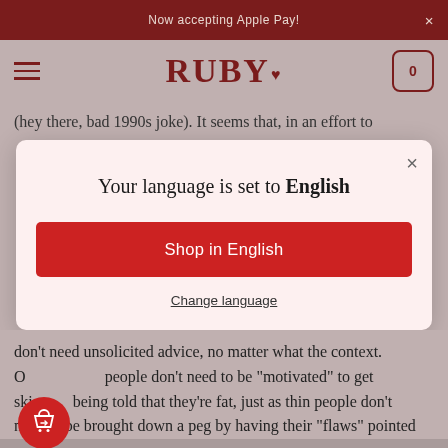Now accepting Apple Pay!
[Figure (logo): RUBY logo with hamburger menu and cart icon on grey navigation bar]
(hey there, bad 1990s joke). It seems that, in an effort to
Your language is set to English
Shop in English
Change language
don't need unsolicited advice, no matter what the context. O... people don't need to be "motivated" to get ski... being told that they're fat, just as thin people don't need to be brought down a peg by having their "flaws" pointed